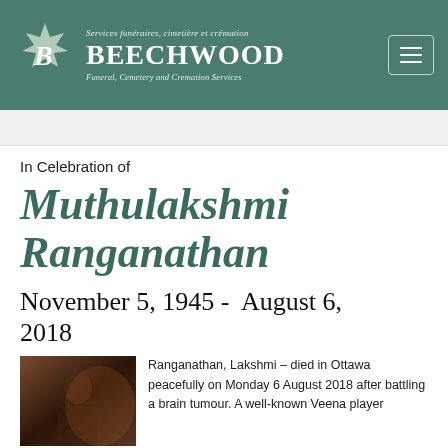Services funéraires, cimetière et crémation BEECHWOOD Funeral, Cemetery and Cremation Services
In Celebration of
Muthulakshmi Ranganathan
November 5, 1945 -  August 6, 2018
[Figure (photo): Portrait photo of Muthulakshmi Ranganathan]
Ranganathan, Lakshmi – died in Ottawa peacefully on Monday 6 August 2018 after battling a brain tumour. A well-known Veena player